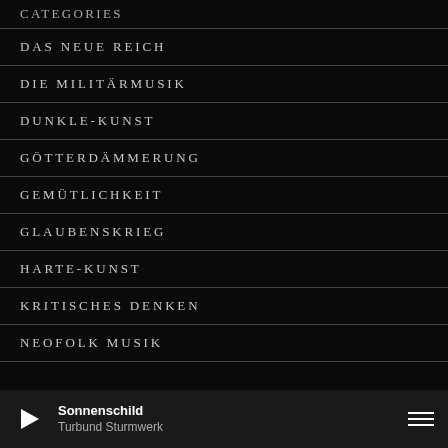CATEGORIES
DAS NEUE REICH
DIE MILITÄRMUSIK
DUNKLE-KUNST
GÖTTERDÄMMERUNG
GEMÜTLICHKEIT
GLAUBENSKRIEG
HARTE-KUNST
KRITISCHES DENKEN
NEOFOLK MUSIK
Sonnenschild
Turbund Sturmwerk